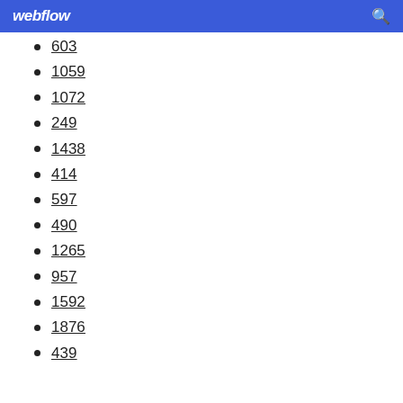webflow
603
1059
1072
249
1438
414
597
490
1265
957
1592
1876
439